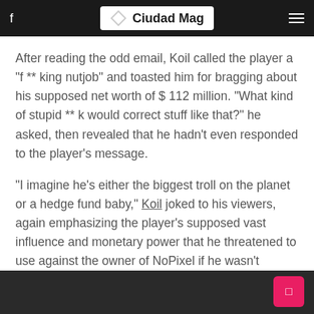Ciudad Mag
After reading the odd email, Koil called the player a "f ** king nutjob" and toasted him for bragging about his supposed net worth of $ 112 million. "What kind of stupid ** k would correct stuff like that?" he asked, then revealed that he hadn't even responded to the player's message.
"I imagine he's either the biggest troll on the planet or a hedge fund baby," Koil joked to his viewers, again emphasizing the player's supposed vast influence and monetary power that he threatened to use against the owner of NoPixel if he wasn't banned.
The player's call follows an altercation on the NoPixel server involving perhaps the most infamous (and most frequently banned) player of all: Félix 'xQc' Lengyel.